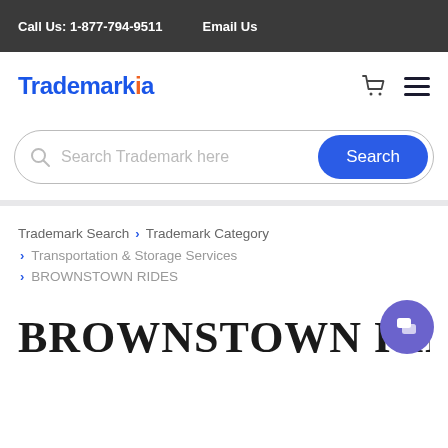Call Us: 1-877-794-9511    Email Us
[Figure (logo): Trademarkia logo with blue text and orange dot on the letter i]
[Figure (infographic): Search bar with 'Search Trademark here' placeholder and blue Search button]
Trademark Search > Trademark Category > Transportation & Storage Services > BROWNSTOWN RIDES
BROWNSTOWN RIDES